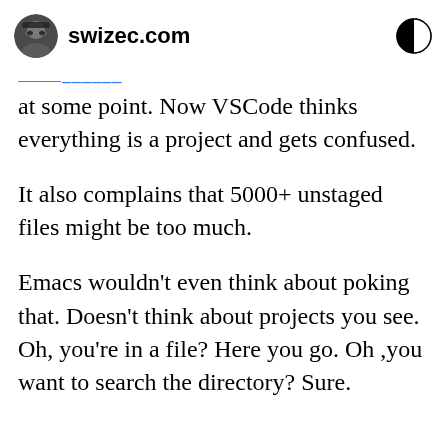swizec.com
at some point. Now VSCode thinks everything is a project and gets confused.
It also complains that 5000+ unstaged files might be too much.
Emacs wouldn't even think about poking that. Doesn't think about projects you see. Oh, you're in a file? Here you go. Oh ,you want to search the directory? Sure.